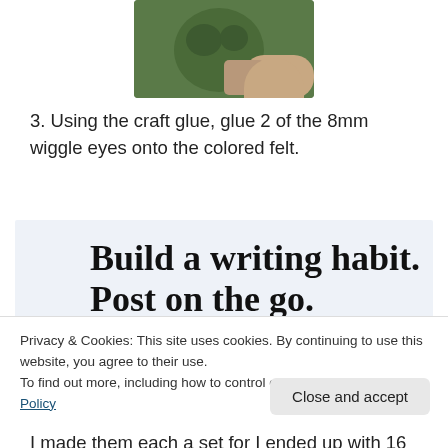[Figure (photo): A hand holding a small green sculpted figure, partially cropped at the top of the page.]
3. Using the craft glue, glue 2 of the 8mm wiggle eyes onto the colored felt.
[Figure (screenshot): WordPress app advertisement banner with text 'Build a writing habit. Post on the go.' and 'GET THE APP' with WordPress logo.]
Privacy & Cookies: This site uses cookies. By continuing to use this website, you agree to their use.
To find out more, including how to control cookies, see here: Cookie Policy
Close and accept
I made them each a set for I ended up with 16 Ninja